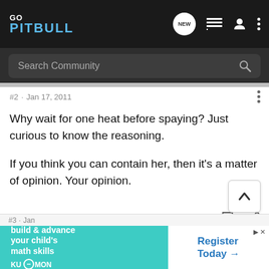GoPitbull — Search Community
#2 · Jan 17, 2011
Why wait for one heat before spaying? Just curious to know the reasoning.

If you think you can contain her, then it's a matter of opinion. Your opinion.
Wingman · LOLZ
[Figure (screenshot): Kumon advertisement banner: 'build & advance your child's math skills' with 'Register Today →' button on white right panel]
#3 · Jan